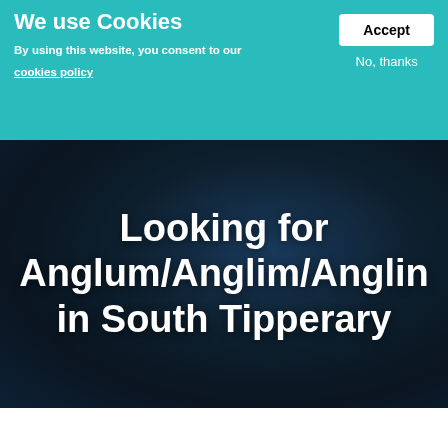We use Cookies
By using this website, you consent to our cookies policy
Accept
No, thanks
[Figure (photo): Dark blurred background image with gradient from teal-dark blue to near-black, serving as a hero banner background]
Looking for Anglum/Anglim/Anglin in South Tipperary